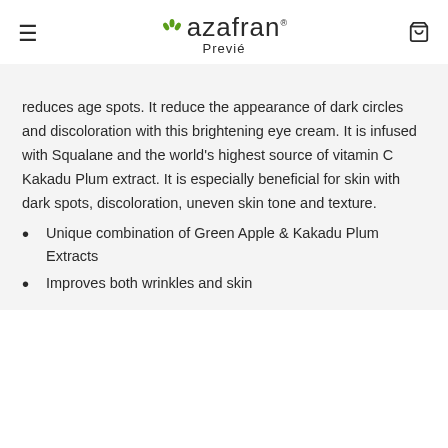azafran® Previé
reduces age spots. It reduce the appearance of dark circles and discoloration with this brightening eye cream. It is infused with Squalane and the world's highest source of vitamin C Kakadu Plum extract. It is especially beneficial for skin with dark spots, discoloration, uneven skin tone and texture.
Unique combination of Green Apple & Kakadu Plum Extracts
Improves both wrinkles and skin